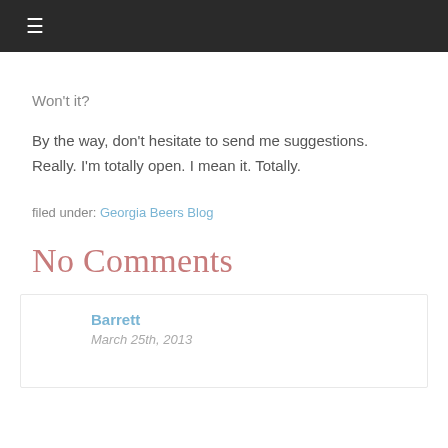≡
Won't it?
By the way, don't hesitate to send me suggestions. Really. I'm totally open. I mean it. Totally.
filed under: Georgia Beers Blog
No Comments
Barrett
March 25th, 2013